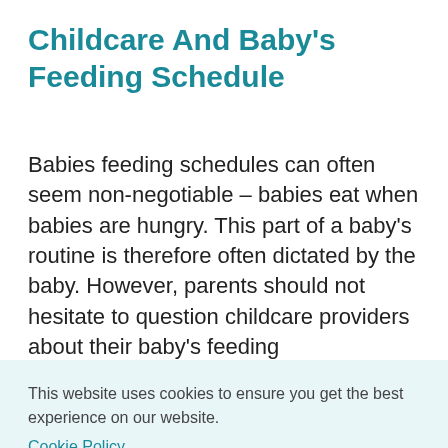Childcare And Baby's Feeding Schedule
Babies feeding schedules can often seem non-negotiable – babies eat when babies are hungry. This part of a baby's routine is therefore often dictated by the baby. However, parents should not hesitate to question childcare providers about their baby's feeding
This website uses cookies to ensure you get the best experience on our website.
Cookie Policy
Got it!